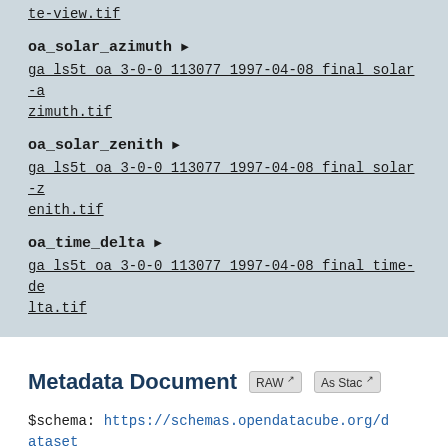te-view.tif
oa_solar_azimuth ▶
ga ls5t oa 3-0-0 113077 1997-04-08 final solar-azimuth.tif
oa_solar_zenith ▶
ga ls5t oa 3-0-0 113077 1997-04-08 final solar-zenith.tif
oa_time_delta ▶
ga ls5t oa 3-0-0 113077 1997-04-08 final time-delta.tif
Metadata Document
$schema: https://schemas.opendatacube.org/dataset
id: 07a32624-620e-4b33-97aa-079a4a659cb1